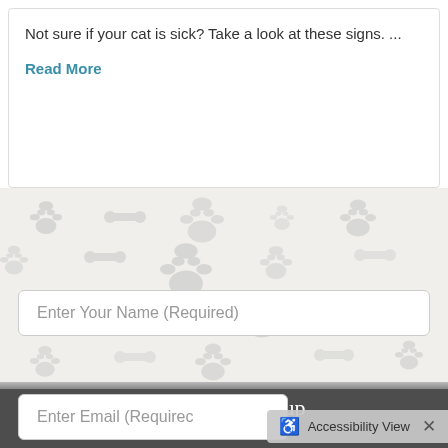Not sure if your cat is sick? Take a look at these signs. ...
Read More
[Figure (illustration): Repeating pattern of gray paw prints, bones, and pet-related icons on a light beige/cream background]
Newsletter Signup
Enter Your Name (Required)
Enter Email (Required)
Accessibility View ×